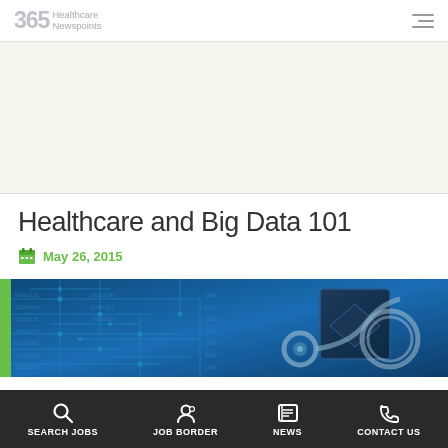365 Healthcare Newspoints
[Figure (other): Advertisement banner area — light beige/off-white background, blank ad space]
Healthcare and Big Data 101
May 26, 2015
[Figure (photo): Photo of a stethoscope resting on a blue-lit circuit board, symbolizing the intersection of healthcare and technology]
SEARCH JOBS | JOB BORDER | NEWS | CONTACT US